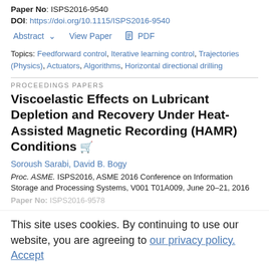Paper No: ISPS2016-9540
DOI: https://doi.org/10.1115/ISPS2016-9540
Abstract ∨   View Paper   🖹 PDF
Topics: Feedforward control, Iterative learning control, Trajectories (Physics), Actuators, Algorithms, Horizontal directional drilling
PROCEEDINGS PAPERS
Viscoelastic Effects on Lubricant Depletion and Recovery Under Heat-Assisted Magnetic Recording (HAMR) Conditions 🛒
Soroush Sarabi, David B. Bogy
Proc. ASME. ISPS2016, ASME 2016 Conference on Information Storage and Processing Systems, V001 T01A009, June 20–21, 2016
Paper No: ISPS2016-9578
This site uses cookies. By continuing to use our website, you are agreeing to our privacy policy. Accept